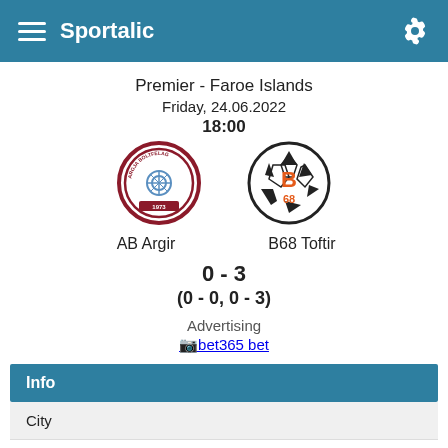Sportalic
Premier - Faroe Islands
Friday, 24.06.2022
18:00
[Figure (logo): AB Argir club logo - circular red/maroon badge with 'Argja Boltfelag' text]
[Figure (logo): B68 Toftir club logo - black and white soccer ball with orange B and 68]
AB Argir
B68 Toftir
0 - 3
(0 - 0,  0 - 3)
Advertising
bet365 bet
Info
City
Home:  Argir